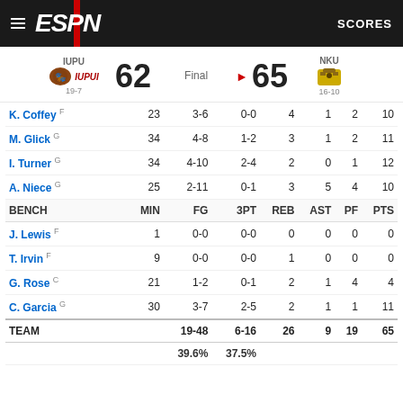ESPN SCORES
IUPU 19-7 IUPUI 62 Final 65 NKU 16-10
|  | MIN | FG | 3PT | REB | AST | PF | PTS |
| --- | --- | --- | --- | --- | --- | --- | --- |
| K. Coffey F | 23 | 3-6 | 0-0 | 4 | 1 | 2 | 10 |
| M. Glick G | 34 | 4-8 | 1-2 | 3 | 1 | 2 | 11 |
| I. Turner G | 34 | 4-10 | 2-4 | 2 | 0 | 1 | 12 |
| A. Niece G | 25 | 2-11 | 0-1 | 3 | 5 | 4 | 10 |
| BENCH | MIN | FG | 3PT | REB | AST | PF | PTS |
| J. Lewis F | 1 | 0-0 | 0-0 | 0 | 0 | 0 | 0 |
| T. Irvin F | 9 | 0-0 | 0-0 | 1 | 0 | 0 | 0 |
| G. Rose C | 21 | 1-2 | 0-1 | 2 | 1 | 4 | 4 |
| C. Garcia G | 30 | 3-7 | 2-5 | 2 | 1 | 1 | 11 |
| TEAM |  | 19-48 | 6-16 | 26 | 9 | 19 | 65 |
|  |  | 39.6% | 37.5% |  |  |  |  |